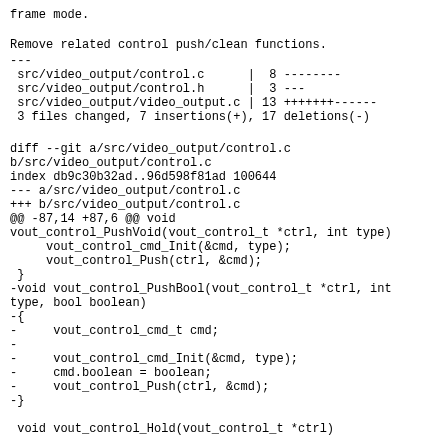frame mode.
Remove related control push/clean functions.
---
 src/video_output/control.c      |  8 --------
 src/video_output/control.h      |  3 ---
 src/video_output/video_output.c | 13 +++++++------
 3 files changed, 7 insertions(+), 17 deletions(-)
diff --git a/src/video_output/control.c
b/src/video_output/control.c
index db9c30b32ad..96d598f81ad 100644
--- a/src/video_output/control.c
+++ b/src/video_output/control.c
@@ -87,14 +87,6 @@ void
vout_control_PushVoid(vout_control_t *ctrl, int type)
        vout_control_cmd_Init(&cmd, type);
        vout_control_Push(ctrl, &cmd);
 }
-void vout_control_PushBool(vout_control_t *ctrl, int
type, bool boolean)
-{
-        vout_control_cmd_t cmd;
-
-        vout_control_cmd_Init(&cmd, type);
-        cmd.boolean = boolean;
-        vout_control_Push(ctrl, &cmd);
-}

 void vout_control_Hold(vout_control_t *ctrl)